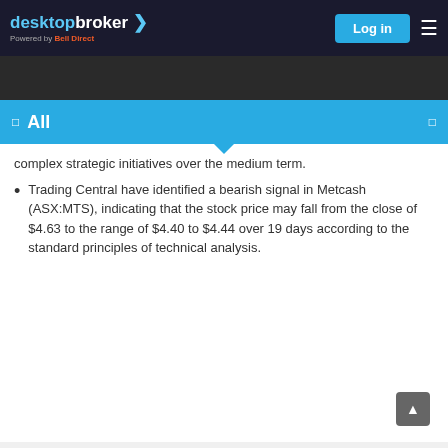desktopbroker > Powered by Bell Direct | Log in
complex strategic initiatives over the medium term.
Trading Central have identified a bearish signal in Metcash (ASX:MTS), indicating that the stock price may fall from the close of $4.63 to the range of $4.40 to $4.44 over 19 days according to the standard principles of technical analysis.
MARKET WRAPS  5 SEP 2022
Closing Bell - Grady Wulff
MARKET WRAPS  5 SEP 2022
Morning Bell - Grady Wulff